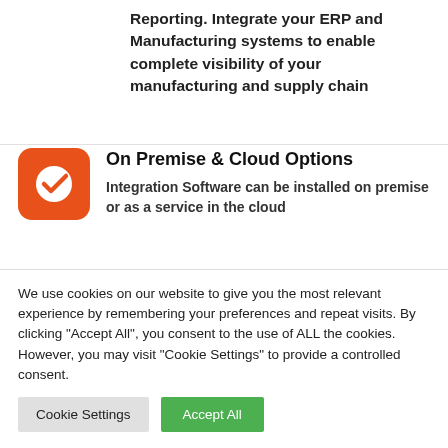Reporting. Integrate your ERP and Manufacturing systems to enable complete visibility of your manufacturing and supply chain
[Figure (logo): Orange rounded square icon with white checkmark circle]
On Premise & Cloud Options
Integration Software can be installed on premise or as a service in the cloud
[Figure (logo): Orange icon with arch/bridge shape]
API Management
We use cookies on our website to give you the most relevant experience by remembering your preferences and repeat visits. By clicking "Accept All", you consent to the use of ALL the cookies. However, you may visit "Cookie Settings" to provide a controlled consent.